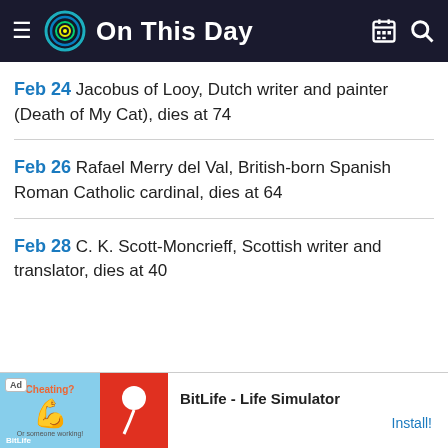On This Day
Feb 24 Jacobus of Looy, Dutch writer and painter (Death of My Cat), dies at 74
Feb 26 Rafael Merry del Val, British-born Spanish Roman Catholic cardinal, dies at 64
Feb 28 C. K. Scott-Moncrieff, Scottish writer and translator, dies at 40
[Figure (screenshot): Ad banner for BitLife - Life Simulator app with install button]